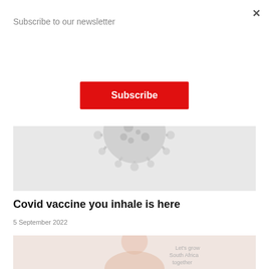Subscribe to our newsletter
Subscribe
[Figure (illustration): Grey background image with a coronavirus/COVID-19 particle illustration in light grey]
Covid vaccine you inhale is here
5 September 2022
[Figure (photo): Partially visible photo of a person with faded overlay text reading 'Let's grow South Africa together']